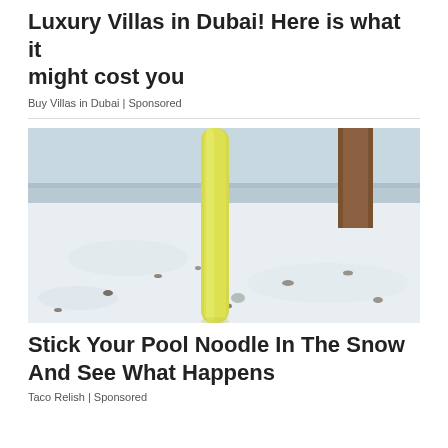Luxury Villas in Dubai! Here is what it might cost you
Buy Villas in Dubai | Sponsored
[Figure (photo): A yellow pool noodle stuck vertically in snow on the ground, with a wooden post visible in the upper right corner and snow-covered ground with scattered leaves in the background.]
Stick Your Pool Noodle In The Snow And See What Happens
Taco Relish | Sponsored